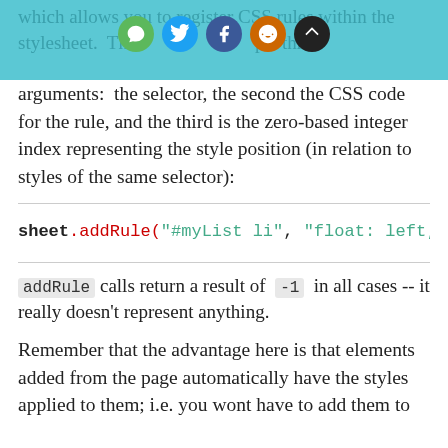which allows you to register CSS rules within the stylesheet. The addRule method accepts three arguments: the selector, the second the CSS code for the rule, and the third is the zero-based integer index representing the style position (in relation to styles of the same selector):
sheet.addRule("#myList li", "float: left; backgr
addRule calls return a result of -1 in all cases -- it really doesn't represent anything.
Remember that the advantage here is that elements added from the page automatically have the styles applied to them; i.e. you wont have to add them to